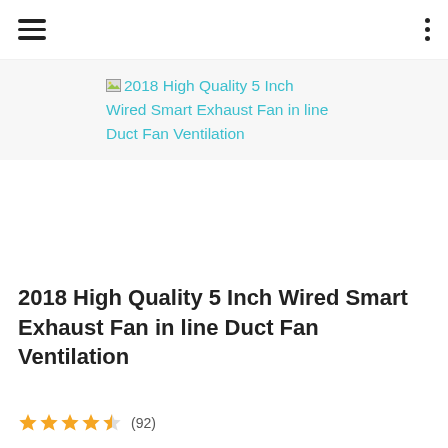[hamburger menu] [three-dot menu]
2018 High Quality 5 Inch Wired Smart Exhaust Fan in line Duct Fan Ventilation
2018 High Quality 5 Inch Wired Smart Exhaust Fan in line Duct Fan Ventilation
★★★★☆ (92)